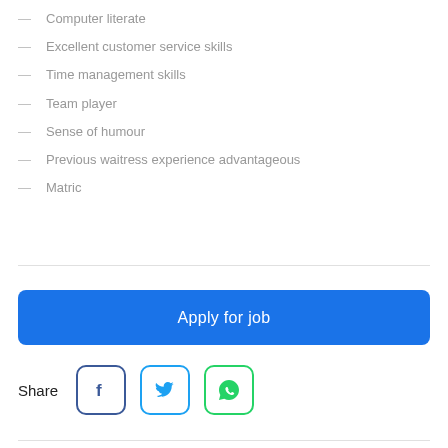Computer literate
Excellent customer service skills
Time management skills
Team player
Sense of humour
Previous waitress experience advantageous
Matric
Apply for job
Share